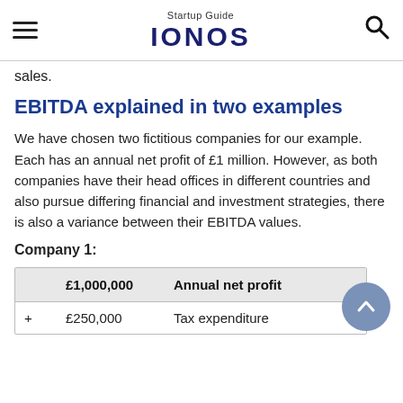Startup Guide IONOS
sales.
EBITDA explained in two examples
We have chosen two fictitious companies for our example. Each has an annual net profit of £1 million. However, as both companies have their head offices in different countries and also pursue differing financial and investment strategies, there is also a variance between their EBITDA values.
Company 1:
|  | £1,000,000 | Annual net profit |
| --- | --- | --- |
| + | £250,000 | Tax expenditure |